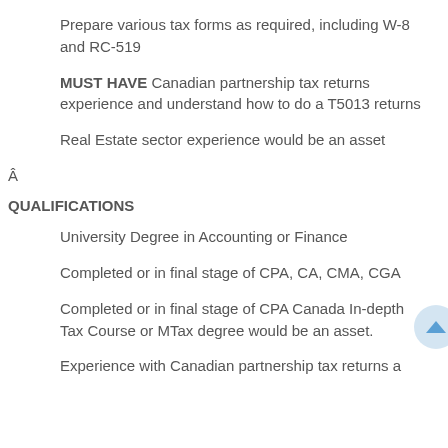Prepare various tax forms as required, including W-8 and RC-519
MUST HAVE Canadian partnership tax returns experience and understand how to do a T5013 returns
Real Estate sector experience would be an asset
Â
QUALIFICATIONS
University Degree in Accounting or Finance
Completed or in final stage of CPA, CA, CMA, CGA
Completed or in final stage of CPA Canada In-depth Tax Course or MTax degree would be an asset.
Experience with Canadian partnership tax returns a